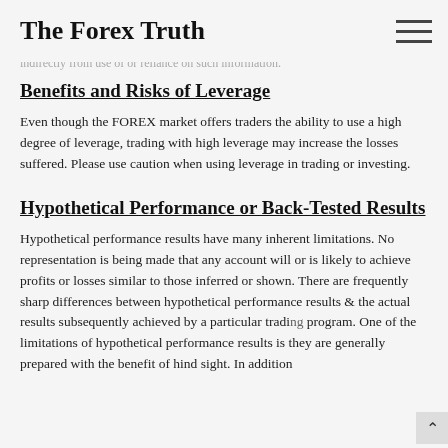The Forex Truth
information contained in this document does not constitute investment ... any loss or damage, including without limitation to, any loss of profit, which may arise directly or indirectly from use of or reliance on such information.
Benefits and Risks of Leverage
Even though the FOREX market offers traders the ability to use a high degree of leverage, trading with high leverage may increase the losses suffered. Please use caution when using leverage in trading or investing.
Hypothetical Performance or Back-Tested Results
Hypothetical performance results have many inherent limitations. No representation is being made that any account will or is likely to achieve profits or losses similar to those inferred or shown. There are frequently sharp differences between hypothetical performance results & the actual results subsequently achieved by a particular trading program. One of the limitations of hypothetical performance results is they are generally prepared with the benefit of hind sight. In addition